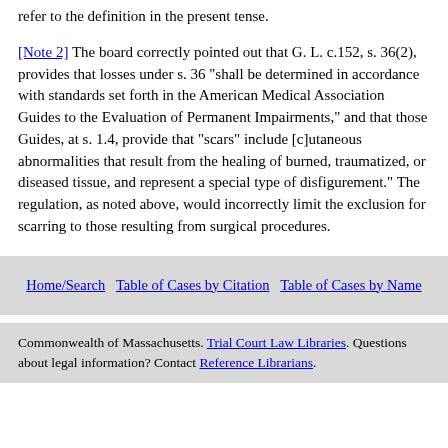refer to the definition in the present tense.
[Note 2] The board correctly pointed out that G. L. c.152, s. 36(2), provides that losses under s. 36 "shall be determined in accordance with standards set forth in the American Medical Association Guides to the Evaluation of Permanent Impairments," and that those Guides, at s. 1.4, provide that "scars" include [c]utaneous abnormalities that result from the healing of burned, traumatized, or diseased tissue, and represent a special type of disfigurement." The regulation, as noted above, would incorrectly limit the exclusion for scarring to those resulting from surgical procedures.
Home/Search   Table of Cases by Citation   Table of Cases by Name
Commonwealth of Massachusetts. Trial Court Law Libraries. Questions about legal information? Contact Reference Librarians.